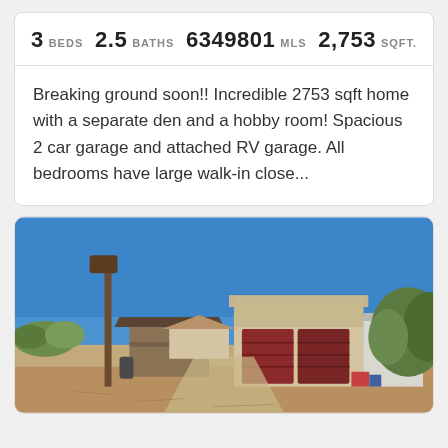| BEDS | BATHS | MLS | SQFT |
| --- | --- | --- | --- |
| 3 | 2.5 | 6349801 | 2,753 |
Breaking ground soon!! Incredible 2753 sqft home with a separate den and a hobby room! Spacious 2 car garage and attached RV garage. All bedrooms have large walk-in close...
[Figure (photo): Panoramic photo of a desert property showing a tan stucco garage building with two large red garage doors, a wooden utility pole with a street sign, sandy desert ground, blue sky, and surrounding vegetation and outbuildings.]